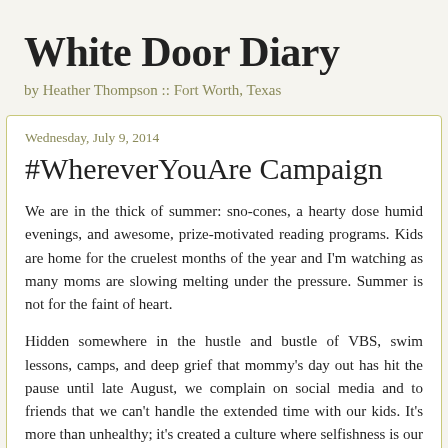White Door Diary
by Heather Thompson :: Fort Worth, Texas
Wednesday, July 9, 2014
#WhereverYouAre Campaign
We are in the thick of summer: sno-cones, a hearty dose humid evenings, and awesome, prize-motivated reading programs. Kids are home for the cruelest months of the year and I'm watching as many moms are slowing melting under the pressure. Summer is not for the faint of heart.
Hidden somewhere in the hustle and bustle of VBS, swim lessons, camps, and deep grief that mommy's day out has hit the pause until late August, we complain on social media and to friends that we can't handle the extended time with our kids. It's more than unhealthy; it's created a culture where selfishness is our motivation.